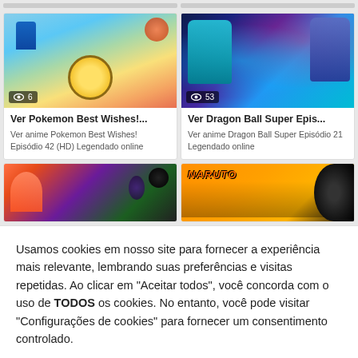[Figure (screenshot): Screenshot of anime streaming website showing card grid with Pokemon Best Wishes and Dragon Ball Super episode thumbnails, and a cookie consent overlay]
Ver Pokemon Best Wishes!...
Ver anime Pokemon Best Wishes! Episódio 42 (HD) Legendado online
Ver Dragon Ball Super Epis...
Ver anime Dragon Ball Super Episódio 21 Legendado online
Usamos cookies em nosso site para fornecer a experiência mais relevante, lembrando suas preferências e visitas repetidas. Ao clicar em "Aceitar todos", você concorda com o uso de TODOS os cookies. No entanto, você pode visitar "Configurações de cookies" para fornecer um consentimento controlado.
Configurações
Aceitar Todos